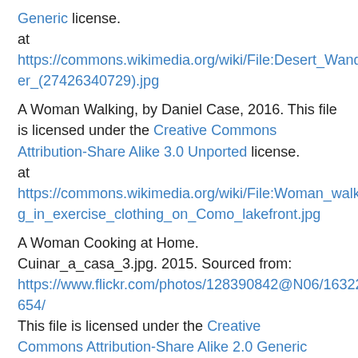Generic license. at https://commons.wikimedia.org/wiki/File:Desert_Wander er_(27426340729).jpg
A Woman Walking, by Daniel Case, 2016. This file is licensed under the Creative Commons Attribution-Share Alike 3.0 Unported license. at https://commons.wikimedia.org/wiki/File:Woman_walking_in_exercise_clothing_on_Como_lakefront.jpg
A Woman Cooking at Home.  Cuinar_a_casa_3.jpg. 2015. Sourced from: https://www.flickr.com/photos/128390842@N06/16322582654/ This file is licensed under the Creative Commons Attribution-Share Alike 2.0 Generic license. at https://commons.wikimedia.org/wiki/File:Cuinar_a_casa